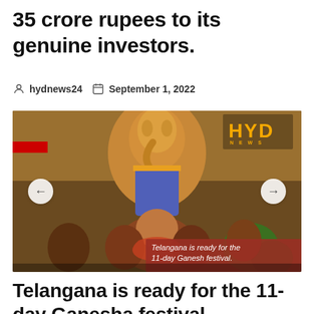35 crore rupees to its genuine investors.
hydnews24   September 1, 2022
[Figure (photo): Photo of Ganesh idol being carried in a procession with people in front, overlaid with HYD NEWS logo in top right and caption banner 'Telangana is ready for the 11-day Ganesh festival.' at bottom right. Navigation arrows on left and right sides.]
Telangana is ready for the 11-day Ganesh festival.
Telangana is ready for the 11-day Ganesha festival.